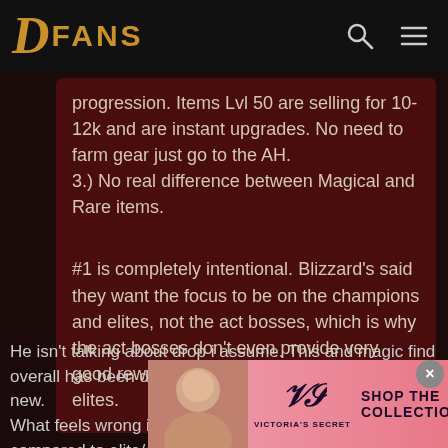DFANS
progression. Items Lvl 50 are selling for 10-12k and are instant upgrades. No need to farm gear just go to the AH.
3.) No real difference between Magical and Rare items.
#1 is completely intentional. Blizzard's said they want the focus to be on the champions and elites, not the act bosses, which is why the act bosses don't even provide very good rewards compared to champs and elites.
He isn't talking about drop i assume. This and magic find overall has been discussed a lot before release, nothing new.
What feels wrong is the lack of difficulty in bossfights compared to elite/champ packs. I agree that the main bosses of acts should bring m
[Figure (screenshot): Victoria's Secret advertisement banner at bottom of page with model photo, VS logo, SHOP THE COLLECTION text, and SHOP NOW button]